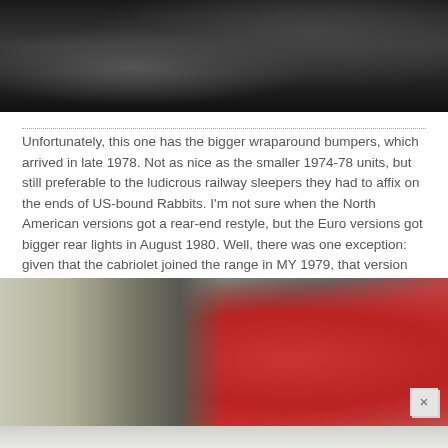[Figure (photo): Top portion of a photo showing a car's rear end and wheel on wet asphalt pavement, partially visible at the top of the page.]
Unfortunately, this one has the bigger wraparound bumpers, which arrived in late 1978. Not as nice as the smaller 1974-78 units, but still preferable to the ludicrous railway sleepers they had to affix on the ends of US-bound Rabbits. I'm not sure when the North American versions got a rear-end restyle, but the Euro versions got bigger rear lights in August 1980. Well, there was one exception: given that the cabriolet joined the range in MY 1979, that version kept the small rear lights until the end of its life in 1993, i.e. well beyond that of the saloon.
[Figure (photo): A red hatchback car (VW Golf/Rabbit) parked in front of a carport with a motorcycle visible, and residential buildings in the background. A close/dismiss button (×) appears in the lower right corner.]
[Figure (photo): Bottom edge of another photo showing the front of a light-colored car, partially visible at the very bottom of the page.]